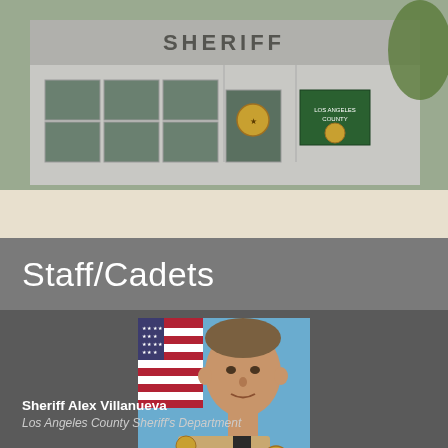[Figure (photo): Exterior photo of a Sheriff department building with glass windows and 'SHERIFF' text on the facade. Los Angeles County Sheriff's Department signage visible near the entrance.]
Staff/Cadets
[Figure (photo): Official portrait photo of Sheriff Alex Villanueva in uniform with an American flag in the background.]
Sheriff Alex Villanueva
Los Angeles County Sheriff's Department